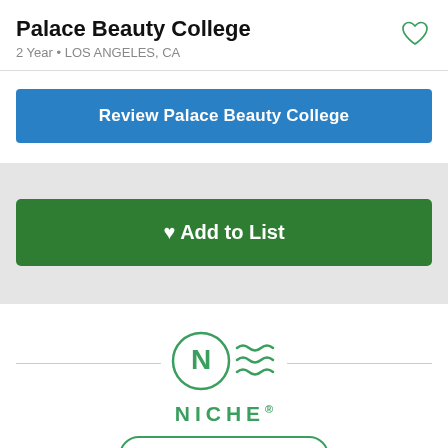Palace Beauty College
2 Year • LOS ANGELES, CA
[Figure (illustration): Heart outline icon (favorite/save) in green, top right corner]
Review Palace Beauty College
♥ Add to List
[Figure (logo): Niche logo: circle with N and wave lines in green, with NICHE wordmark below]
Install App  ×
Discover schools, colleges, and neighborhoods that are right for you.